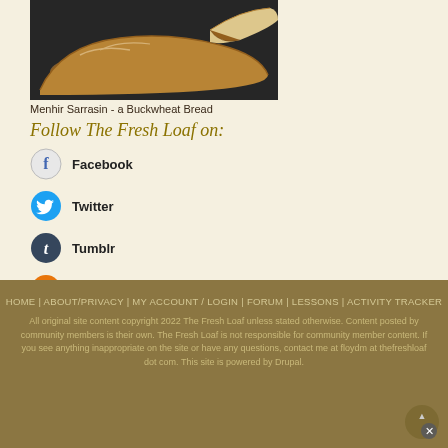[Figure (photo): Photo of Menhir Sarrasin buckwheat bread loaves on a dark surface]
Menhir Sarrasin - a Buckwheat Bread
Follow The Fresh Loaf on:
Facebook
Twitter
Tumblr
This site (RSS)
HOME | ABOUT/PRIVACY | MY ACCOUNT / LOGIN | FORUM | LESSONS | ACTIVITY TRACKER
All original site content copyright 2022 The Fresh Loaf unless stated otherwise. Content posted by community members is their own. The Fresh Loaf is not responsible for community member content. If you see anything inappropriate on the site or have any questions, contact me at floydm at thefreshloaf dot com. This site is powered by Drupal.